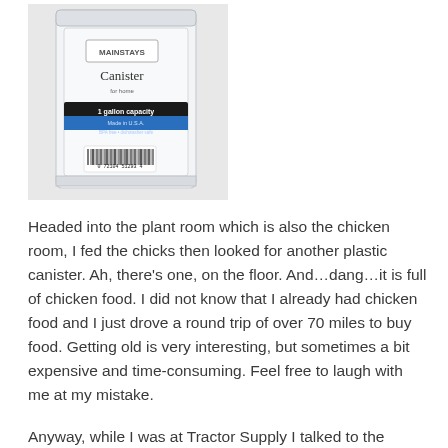[Figure (photo): A clear plastic Mainstays canister with a label reading 'Canister' and a black/blue product label showing '1 gallon capacity', with a barcode visible at the bottom.]
Headed into the plant room which is also the chicken room, I fed the chicks then looked for another plastic canister. Ah, there's one, on the floor. And...dang...it is full of chicken food. I did not know that I already had chicken food and I just drove a round trip of over 70 miles to buy food. Getting old is very interesting, but sometimes a bit expensive and time-consuming. Feel free to laugh with me at my mistake.
Anyway, while I was at Tractor Supply I talked to the young